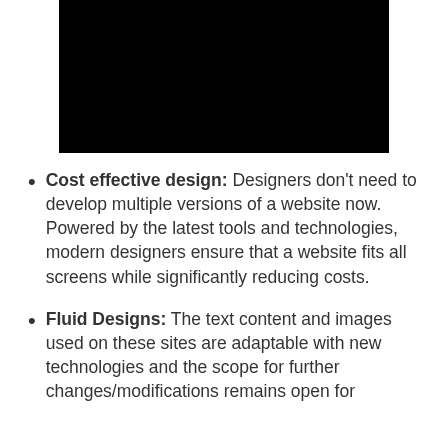[Figure (other): Black rectangle image, likely a placeholder or screenshot of a website or video]
Cost effective design: Designers don't need to develop multiple versions of a website now. Powered by the latest tools and technologies, modern designers ensure that a website fits all screens while significantly reducing costs.
Fluid Designs: The text content and images used on these sites are adaptable with new technologies and the scope for further changes/modifications remains open for